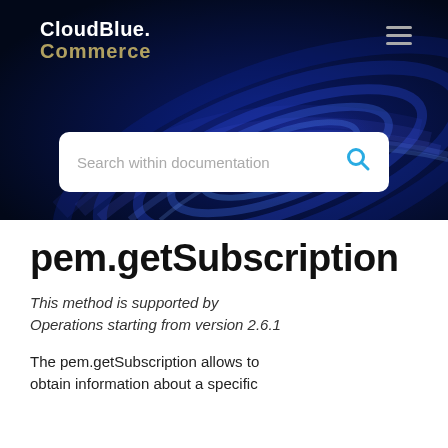[Figure (screenshot): CloudBlue Commerce website header with dark navy background, blue swirling light pattern, CloudBlue Commerce logo top-left, hamburger menu top-right, and a search bar reading 'Search within documentation']
pem.getSubscription
This method is supported by Operations starting from version 2.6.1
The pem.getSubscription allows to obtain information about a specific...